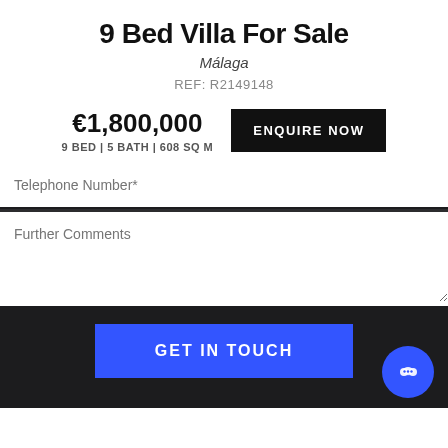9 Bed Villa For Sale
Málaga
REF: R2149148
€1,800,000
9 BED | 5 BATH | 608 SQ M
ENQUIRE NOW
Telephone Number*
Further Comments
GET IN TOUCH